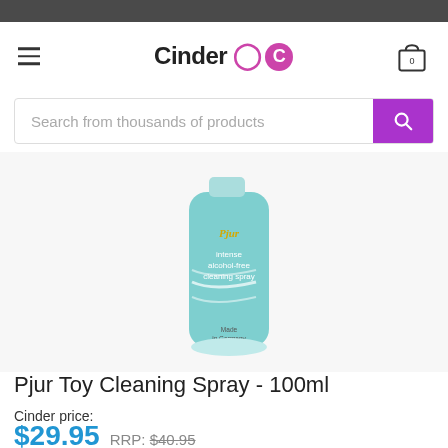Cinder C
Search from thousands of products
[Figure (photo): A teal/light blue spray bottle of Pjur intense alcohol-free cleaning spray, 100ml, Made in Germany, shown against a white/light background.]
Pjur Toy Cleaning Spray - 100ml
Cinder price:
$29.95  RRP: $40.95